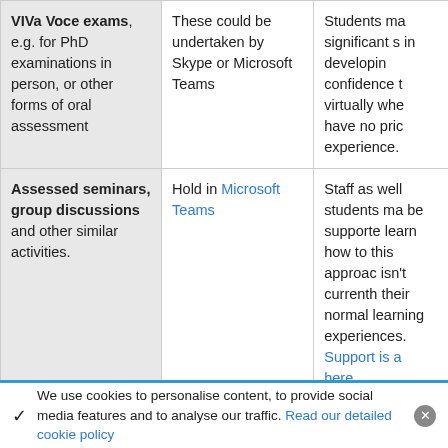| Assessment type | How to do it online | Support and guidance |
| --- | --- | --- |
| VIVa Voce exams, e.g. for PhD examinations in person, or other forms of oral assessment | These could be undertaken by Skype or Microsoft Teams | Students ma... significant s... in developin... confidence t... virtually whe... have no pric... experience. |
| Assessed seminars, group discussions and other similar activities. | Hold in Microsoft Teams | Staff as well... students ma... be supporte... learn how to... this approac... isn't currenth... their normal... learning experiences... Support is a... here. |
✓  We use cookies to personalise content, to provide social media features and to analyse our traffic. Read our detailed cookie policy